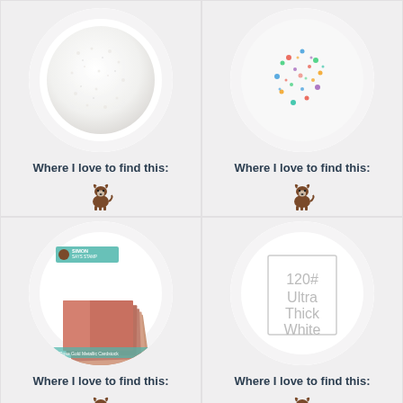[Figure (photo): White glitter/sugar texture circle on light grey circular background]
Where I love to find this:
[Figure (illustration): Small brown Boston Terrier dog logo/icon]
[Figure (photo): Multi-color confetti/glitter circle on light grey circular background]
Where I love to find this:
[Figure (illustration): Small brown Boston Terrier dog logo/icon]
[Figure (photo): Simon Says Stamp Rose Gold Metallic Cardstock product package showing stacked rose gold metallic sheets]
Where I love to find this:
[Figure (illustration): Small brown Boston Terrier dog logo/icon]
[Figure (illustration): White card/paper swatch with text reading 120# Ultra Thick White inside a grey border rectangle]
Where I love to find this:
[Figure (illustration): Small brown Boston Terrier dog logo/icon]